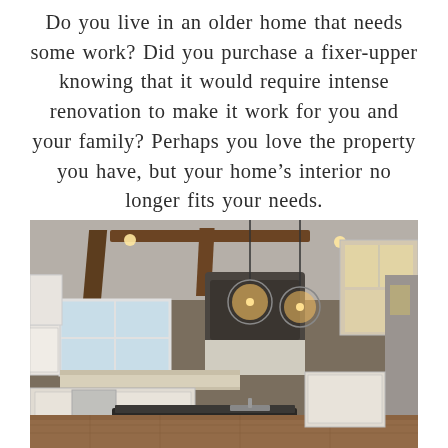Do you live in an older home that needs some work? Did you purchase a fixer-upper knowing that it would require intense renovation to make it work for you and your family? Perhaps you love the property you have, but your home's interior no longer fits your needs.
[Figure (photo): Interior photo of a renovated kitchen with white cabinets, dark granite island countertop, globe pendant lights, dark range hood, wood ceiling beam accents, and hardwood floors.]